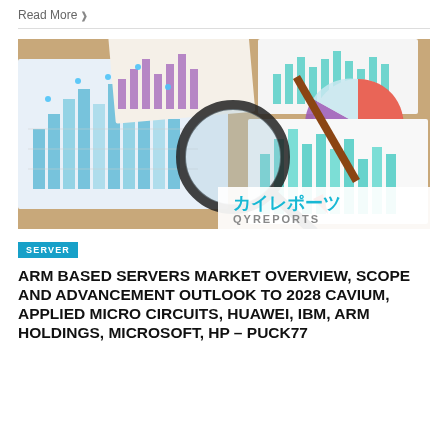Read More ❯
[Figure (photo): Market research image showing bar charts, pie charts, a magnifying glass, a pen, and the QYReports logo with Japanese text カイレポーツ on a wooden surface]
SERVER
ARM BASED SERVERS MARKET OVERVIEW, SCOPE AND ADVANCEMENT OUTLOOK TO 2028 CAVIUM, APPLIED MICRO CIRCUITS, HUAWEI, IBM, ARM HOLDINGS, MICROSOFT, HP – PUCK77